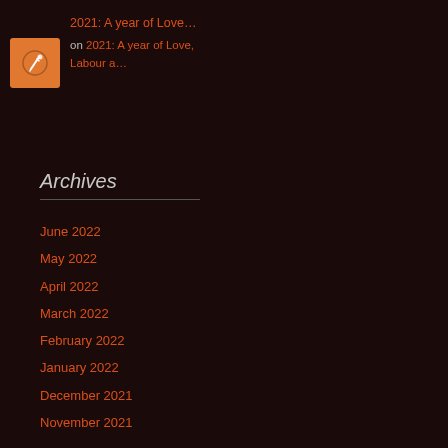2021: A year of Love…
[Figure (illustration): Orange square thumbnail with a white quill/pen icon inside a circle]
on 2021: A year of Love, Labour a…
Archives
June 2022
May 2022
April 2022
March 2022
February 2022
January 2022
December 2021
November 2021